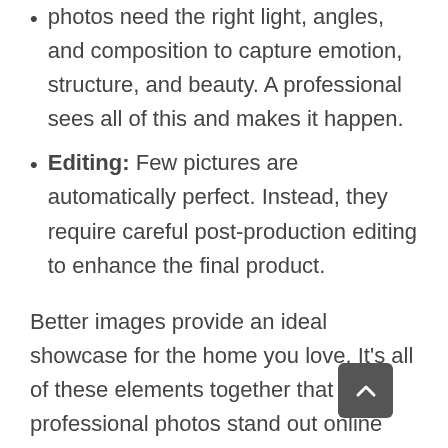photos need the right light, angles, and composition to capture emotion, structure, and beauty. A professional sees all of this and makes it happen.
Editing: Few pictures are automatically perfect. Instead, they require careful post-production editing to enhance the final product.
Better images provide an ideal showcase for the home you love. It’s all of these elements together that help professional photos stand out online and in every listing. So, if you want your home to have a competitive edge in your area, you need the right real estate photographer.